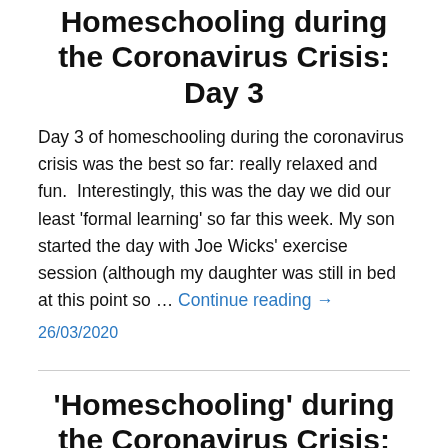Homeschooling during the Coronavirus Crisis: Day 3
Day 3 of homeschooling during the coronavirus crisis was the best so far: really relaxed and fun.  Interestingly, this was the day we did our least 'formal learning' so far this week. My son started the day with Joe Wicks' exercise session (although my daughter was still in bed at this point so … Continue reading →
26/03/2020
'Homeschooling' during the Coronavirus Crisis: Day 1
Today was our first day of 'homeschooling' during the coronavirus crisis and I think it was a success though it